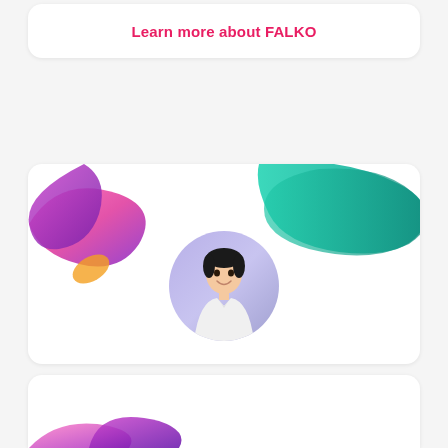Learn more about FALKO
[Figure (illustration): White card with colorful swirl decorations (pink/purple and teal) and a circular portrait photo of a smiling young Asian man in a white shirt on a light purple background]
[Figure (illustration): Bottom white card with colorful swirl decorations partially visible at bottom of page]